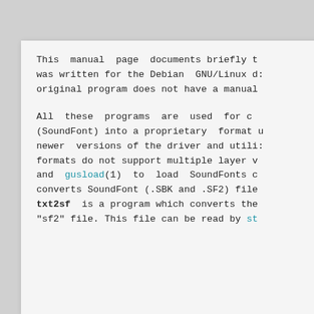This manual page documents briefly t
was written for the Debian GNU/Linux d:
original program does not have a manual

All these programs are used for c
(SoundFont) into a proprietary format u
newer versions of the driver and utili:
formats do not support multiple layer v
and gusload(1) to load SoundFonts c
converts SoundFont (.SBK and .SF2) file
txt2sf is a program which converts the
"sf2" file. This file can be read by st